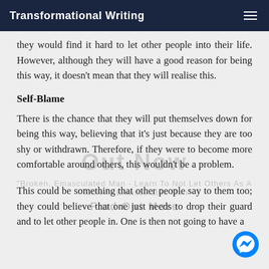Transformational Writing
they would find it hard to let other people into their life. However, although they will have a good reason for being this way, it doesn't mean that they will realise this.
Self-Blame
There is the chance that they will put themselves down for being this way, believing that it's just because they are too shy or withdrawn. Therefore, if they were to become more comfortable around others, this wouldn't be a problem.
This could be something that other people say to them too; they could believe that one just needs to drop their guard and to let other people in. One is then not going to have a